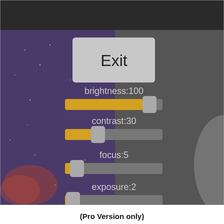[Figure (screenshot): Screenshot of a photo editing UI showing an Exit button and sliders for brightness:100, contrast:30, focus:5, and exposure:2. The left panel has a dark blue/purple starry background with yellow-filled slider bars and gray slider handles. The right portion shows a dark gray blurred background.]
(Pro Version only)